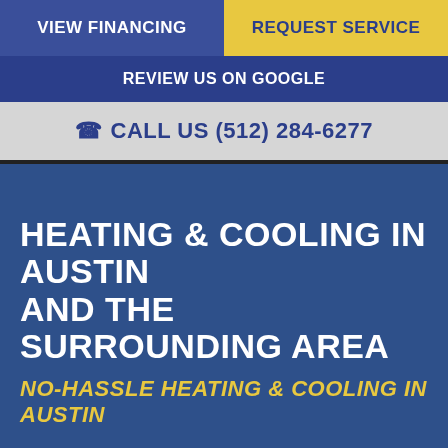VIEW FINANCING
REQUEST SERVICE
REVIEW US ON GOOGLE
CALL US (512) 284-6277
HEATING & COOLING IN AUSTIN AND THE SURROUNDING AREA
NO-HASSLE HEATING & COOLING IN AUSTIN
Any company can make promises about their services, but delivering on those promises is what makes the difference. At Trusted Heating & Cooling, there's no